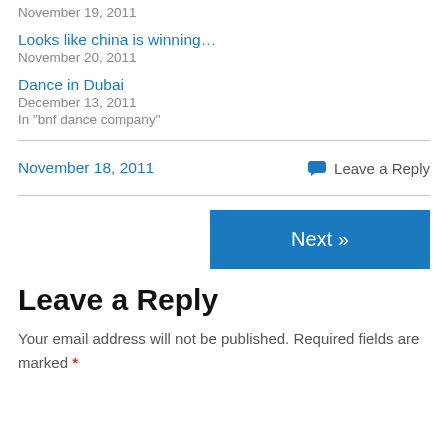November 19, 2011
Looks like china is winning…
November 20, 2011
Dance in Dubai
December 13, 2011
In "bnf dance company"
November 18, 2011
Leave a Reply
Next »
Leave a Reply
Your email address will not be published. Required fields are marked *